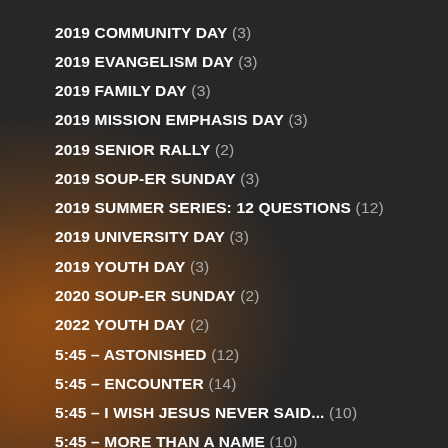2019 COMMUNITY DAY (3)
2019 EVANGELISM DAY (3)
2019 FAMILY DAY (3)
2019 MISSION EMPHASIS DAY (3)
2019 SENIOR RALLY (2)
2019 SOUP-ER SUNDAY (3)
2019 SUMMER SERIES: 12 QUESTIONS (12)
2019 UNIVERSITY DAY (3)
2019 YOUTH DAY (3)
2020 SOUP-ER SUNDAY (2)
2022 YOUTH DAY (2)
5:45 – ASTONISHED (12)
5:45 – ENCOUNTER (14)
5:45 – I WISH JESUS NEVER SAID... (10)
5:45 – MORE THAN A NAME (10)